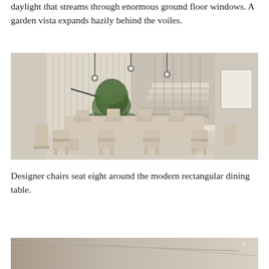daylight that streams through enormous ground floor windows. A garden vista expands hazily behind the voiles.
[Figure (photo): Modern minimalist dining room with a large rectangular stone/concrete dining table surrounded by eight matching chairs, pendant lights hanging from the ceiling, a potted tree as centerpiece, and a staircase visible in the background with tall vertical paneling.]
Designer chairs seat eight around the modern rectangular dining table.
[Figure (photo): Partial view of a modern interior space, cropped at the bottom of the page, showing a ceiling and wall detail in neutral tones.]